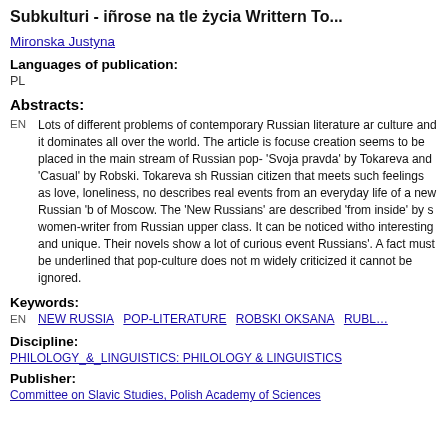Subkulturi - ińrose na tle życia Writtern To...
Mironska Justyna
Languages of publication: PL
Abstracts:
EN  Lots of different problems of contemporary Russian literature and culture and it dominates all over the world. The article is focused creation seems to be placed in the main stream of Russian pop- 'Svoja pravda' by Tokareva and 'Casual' by Robski. Tokareva sh Russian citizen that meets such feelings as love, loneliness, no describes real events from an everyday life of a new Russian 'b of Moscow. The 'New Russians' are described 'from inside' by s women-writer from Russian upper class. It can be noticed witho interesting and unique. Their novels show a lot of curious event Russians'. A fact must be underlined that pop-culture does not m widely criticized it cannot be ignored.
Keywords:
EN  NEW RUSSIA  POP-LITERATURE  ROBSKI OKSANA  RUBL...
Discipline:
PHILOLOGY_&_LINGUISTICS: PHILOLOGY & LINGUISTICS
Publisher:
Committee on Slavic Studies, Polish Academy of Sciences